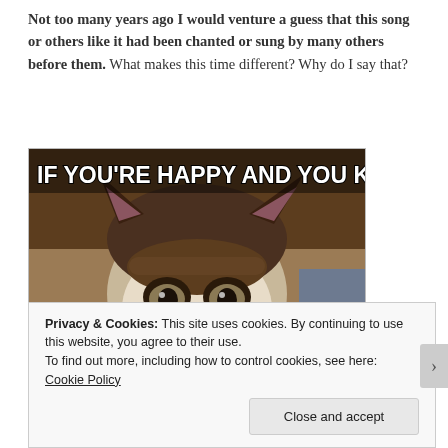Not too many years ago I would venture a guess that this song or others like it had been chanted or sung by many others before them. What makes this time different? Why do I say that?
[Figure (photo): Grumpy Cat meme image with text 'IF YOU'RE HAPPY AND YOU KNOW IT' at the top, showing a displeased-looking Siamese/Ragdoll cat staring at the camera]
Privacy & Cookies: This site uses cookies. By continuing to use this website, you agree to their use.
To find out more, including how to control cookies, see here: Cookie Policy
Close and accept